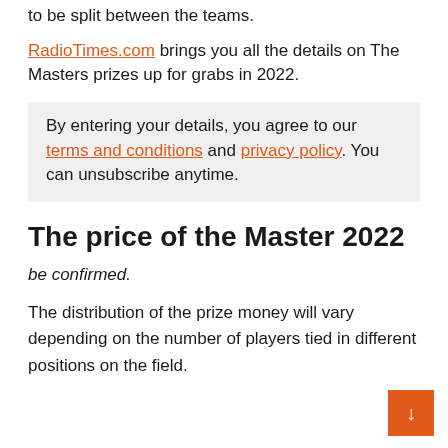to be split between the teams.
RadioTimes.com brings you all the details on The Masters prizes up for grabs in 2022.
By entering your details, you agree to our terms and conditions and privacy policy. You can unsubscribe anytime.
The price of the Master 2022
be confirmed.
The distribution of the prize money will vary depending on the number of players tied in different positions on the field.